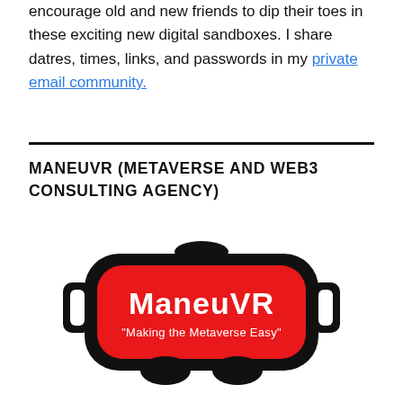encourage old and new friends to dip their toes in these exciting new digital sandboxes. I share datres, times, links, and passwords in my private email community.
MANEUVR (METAVERSE AND WEB3 CONSULTING AGENCY)
[Figure (logo): ManeuVR logo: a red VR headset shape with bold white text 'ManeuVR' and subtitle 'Making the Metaverse Easy']